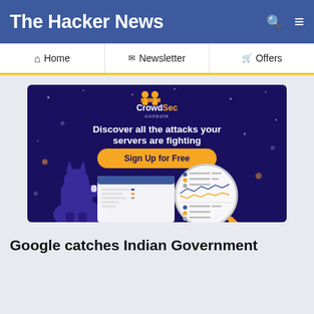The Hacker News
Home  Newsletter  Offers
[Figure (illustration): CrowdSec Console advertisement banner with dark purple background, logo with two characters, tagline 'Discover all the attacks your servers are fighting', orange 'Sign Up for Free' button, and an illustration of a wolf/dog character looking at a dashboard screen with a magnifying glass overlay showing line charts]
Google catches Indian Government